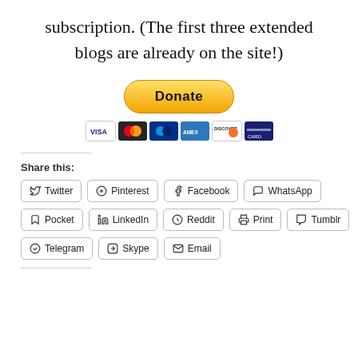subscription. (The first three extended blogs are already on the site!)
[Figure (other): PayPal Donate button with payment card icons (Visa, Mastercard, PayPal, American Express, Discover, and one more card)]
Share this:
Twitter
Pinterest
Facebook
WhatsApp
Pocket
LinkedIn
Reddit
Print
Tumblr
Telegram
Skype
Email